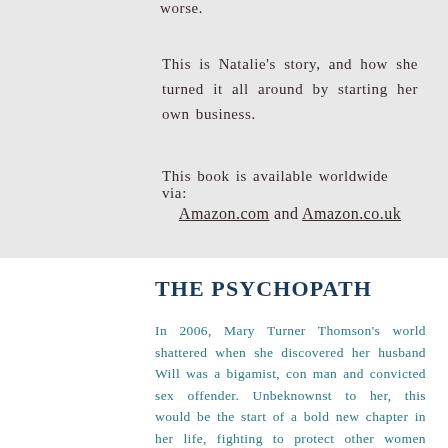worse.
This is Natalie's story, and how she turned it all around by starting her own business.
This book is available worldwide via:
Amazon.com and Amazon.co.uk
THE PSYCHOPATH
In 2006, Mary Turner Thomson's world shattered when she discovered her husband Will was a bigamist, con man and convicted sex offender. Unbeknownst to her, this would be the start of a bold new chapter in her life, fighting to protect other women from his heartless gaslighting campaigns—and putting a stop to his endless deception.